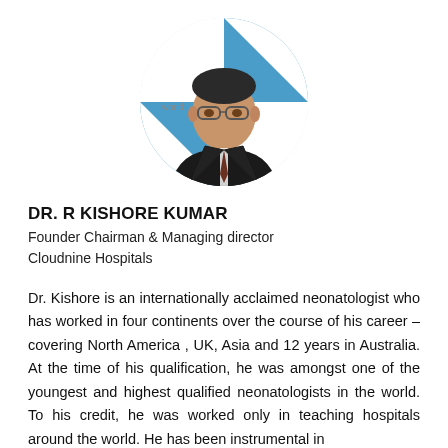[Figure (photo): Circular profile photo of Dr. R Kishore Kumar, a man wearing glasses and a suit with a tie, against a blue and white background with partial text 'world' and 'World' visible.]
DR. R KISHORE KUMAR
Founder Chairman & Managing director
Cloudnine Hospitals
Dr. Kishore is an internationally acclaimed neonatologist who has worked in four continents over the course of his career – covering North America , UK, Asia and 12 years in Australia. At the time of his qualification, he was amongst one of the youngest and highest qualified neonatologists in the world. To his credit, he was worked only in teaching hospitals around the world. He has been instrumental in